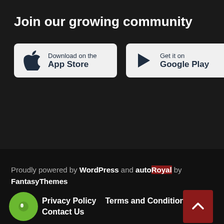Join our growing community
[Figure (other): App Store download button with Apple logo icon]
[Figure (other): Google Play download button with play arrow icon]
Proudly powered by WordPress and autoRoyal by FantasyThemes
Privacy Policy
Terms and Conditions
Contact Us